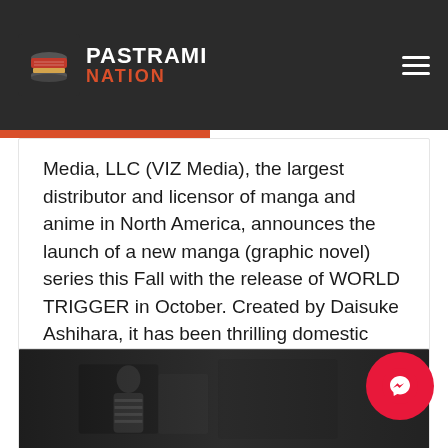PASTRAMI NATION
Media, LLC (VIZ Media), the largest distributor and licensor of manga and anime in North America, announces the launch of a new manga (graphic novel) series this Fall with the release of WORLD TRIGGER in October. Created by Daisuke Ashihara, it has been thrilling domestic fans with new chapters featured regularly in the company's WEEKLY [...]
Adrienne Smith   Anime   0   2 min read
[Figure (photo): Dark photo of a person, partially visible, scene appears cinematic]